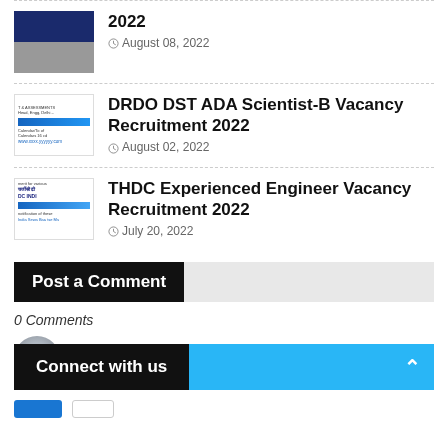2022  August 08, 2022
DRDO DST ADA Scientist-B Vacancy Recruitment 2022  August 02, 2022
THDC Experienced Engineer Vacancy Recruitment 2022  July 20, 2022
Post a Comment
0 Comments
Enter Comment
Connect with us